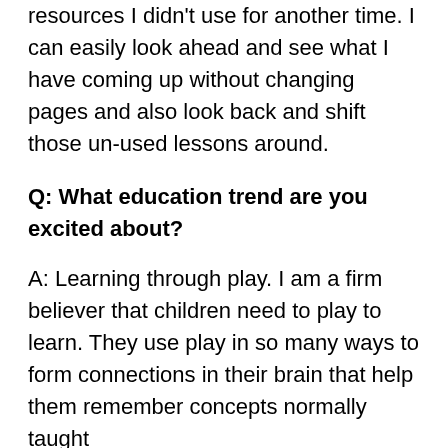resources I didn't use for another time. I can easily look ahead and see what I have coming up without changing pages and also look back and shift those un-used lessons around.
Q: What education trend are you excited about?
A: Learning through play. I am a firm believer that children need to play to learn. They use play in so many ways to form connections in their brain that help them remember concepts normally taught